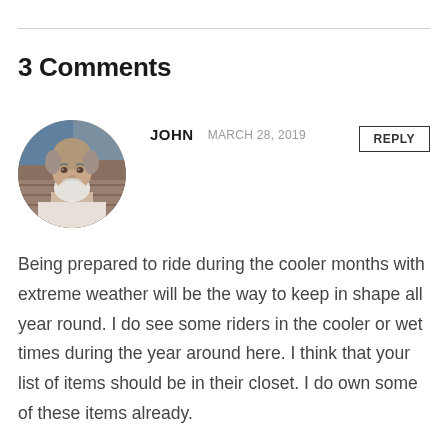3 Comments
[Figure (photo): Circular avatar photo of an older man with a white beard, appearing to be in an outdoor setting]
JOHN   MARCH 28, 2019
REPLY
Being prepared to ride during the cooler months with extreme weather will be the way to keep in shape all year round. I do see some riders in the cooler or wet times during the year around here. I think that your list of items should be in their closet. I do own some of these items already.